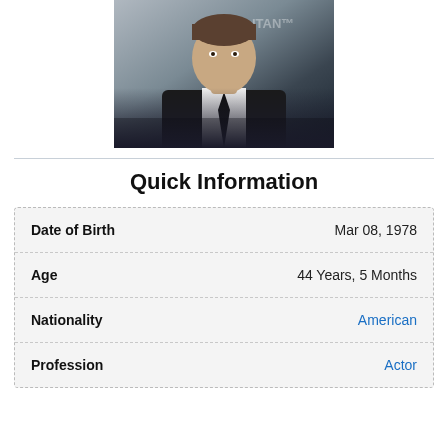[Figure (photo): Portrait photo of a man in a black suit and tie against a backdrop with partial text visible]
Quick Information
| Field | Value |
| --- | --- |
| Date of Birth | Mar 08, 1978 |
| Age | 44 Years, 5 Months |
| Nationality | American |
| Profession | Actor |